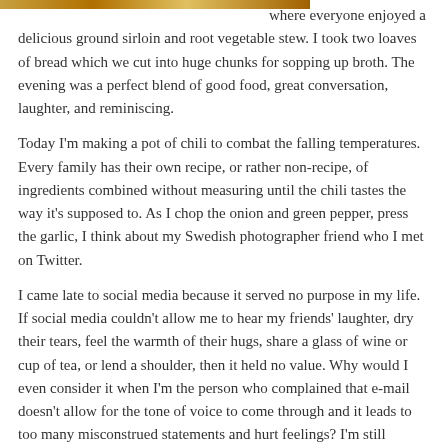[Figure (photo): Partial image strip visible at the top left of the page, cut off]
where everyone enjoyed a delicious ground sirloin and root vegetable stew. I took two loaves of bread which we cut into huge chunks for sopping up broth. The evening was a perfect blend of good food, great conversation, laughter, and reminiscing.
Today I'm making a pot of chili to combat the falling temperatures. Every family has their own recipe, or rather non-recipe, of ingredients combined without measuring until the chili tastes the way it's supposed to. As I chop the onion and green pepper, press the garlic, I think about my Swedish photographer friend who I met on Twitter.
I came late to social media because it served no purpose in my life. If social media couldn't allow me to hear my friends' laughter, dry their tears, feel the warmth of their hugs, share a glass of wine or cup of tea, or lend a shoulder, then it held no value. Why would I even consider it when I'm the person who complained that e-mail doesn't allow for the tone of voice to come through and it leads to too many misconstrued statements and hurt feelings? I'm still extremely cautious about what I type in posts, e-mails, tweets, etc.